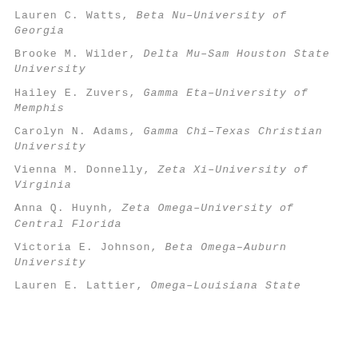Lauren C. Watts, Beta Nu–University of Georgia
Brooke M. Wilder, Delta Mu–Sam Houston State University
Hailey E. Zuvers, Gamma Eta–University of Memphis
Carolyn N. Adams, Gamma Chi–Texas Christian University
Vienna M. Donnelly, Zeta Xi–University of Virginia
Anna Q. Huynh, Zeta Omega–University of Central Florida
Victoria E. Johnson, Beta Omega–Auburn University
Lauren E. Lattier, Omega–Louisiana State…